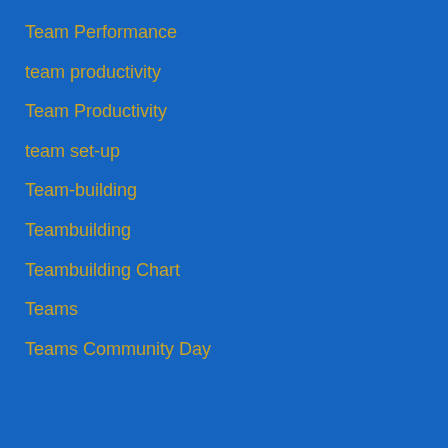Team Performance
team productivity
Team Productivity
team set-up
Team-building
Teambuilding
Teambuilding Chart
Teams
Teams Community Day